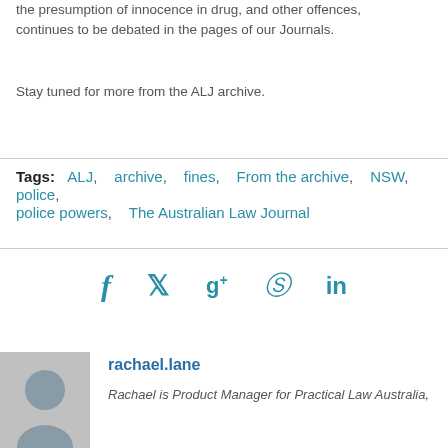the presumption of innocence in drug, and other offences, continues to be debated in the pages of our Journals.
Stay tuned for more from the ALJ archive.
Tags: ALJ, archive, fines, From the archive, NSW, police, police powers, The Australian Law Journal
[Figure (infographic): Social media share icons: Facebook (f), Twitter (bird), Google+ (g+), Pinterest (P), LinkedIn (in)]
rachael.lane
Rachael is Product Manager for Practical Law Australia,